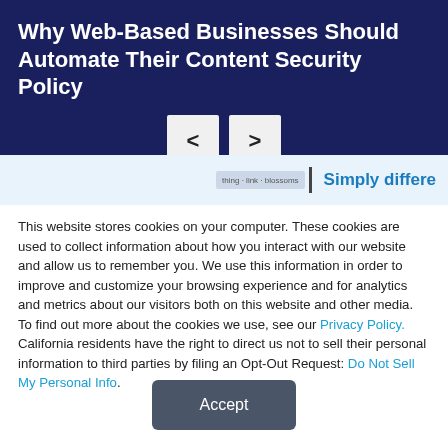Why Web-Based Businesses Should Automate Their Content Security Policy
[Figure (screenshot): Navigation previous/next arrow buttons on dark navy background]
[Figure (screenshot): Partial slide preview showing a bar/line chart thumbnail and the beginning of the text 'Simply differe...' in blue]
This website stores cookies on your computer. These cookies are used to collect information about how you interact with our website and allow us to remember you. We use this information in order to improve and customize your browsing experience and for analytics and metrics about our visitors both on this website and other media. To find out more about the cookies we use, see our Privacy Policy. California residents have the right to direct us not to sell their personal information to third parties by filing an Opt-Out Request: Do Not Sell My Personal Info.
Accept